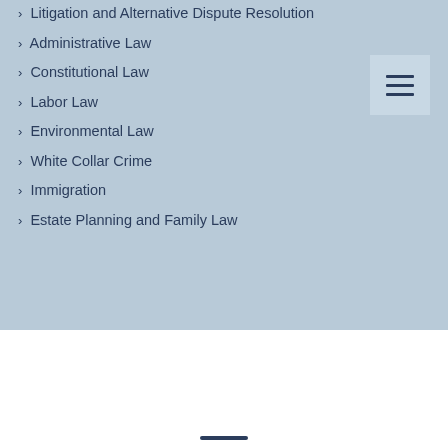› Litigation and Alternative Dispute Resolution
› Administrative Law
› Constitutional Law
› Labor Law
› Environmental Law
› White Collar Crime
› Immigration
› Estate Planning and Family Law